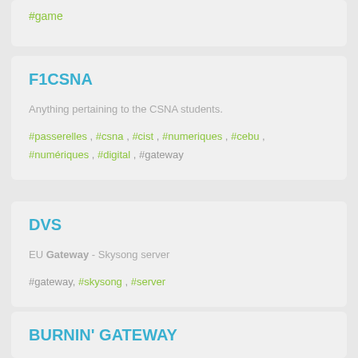#game
F1CSNA
Anything pertaining to the CSNA students.
#passerelles , #csna , #cist , #numeriques , #cebu , #numériques , #digital , #gateway
DVS
EU Gateway - Skysong server
#gateway, #skysong , #server
BURNIN' GATEWAY
Free forum : lets sit and talk. Burnin' Gateway. Free